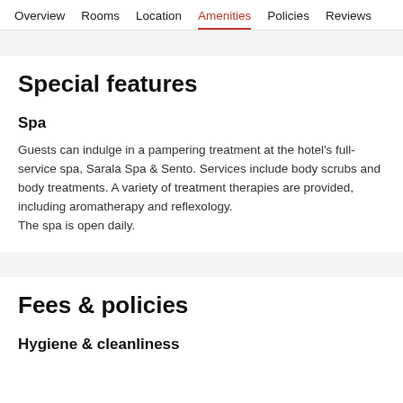Overview  Rooms  Location  Amenities  Policies  Reviews
Special features
Spa
Guests can indulge in a pampering treatment at the hotel's full-service spa, Sarala Spa & Sento. Services include body scrubs and body treatments. A variety of treatment therapies are provided, including aromatherapy and reflexology.
The spa is open daily.
Fees & policies
Hygiene & cleanliness